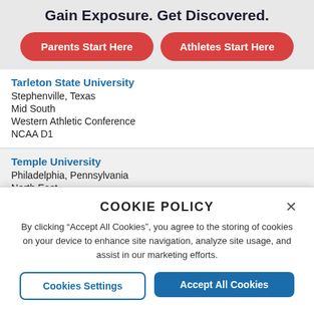Gain Exposure. Get Discovered.
Parents Start Here
Athletes Start Here
Tarleton State University
Stephenville, Texas
Mid South
Western Athletic Conference
NCAA D1
Temple University
Philadelphia, Pennsylvania
North East
COOKIE POLICY
By clicking "Accept All Cookies", you agree to the storing of cookies on your device to enhance site navigation, analyze site usage, and assist in our marketing efforts.
Cookies Settings
Accept All Cookies